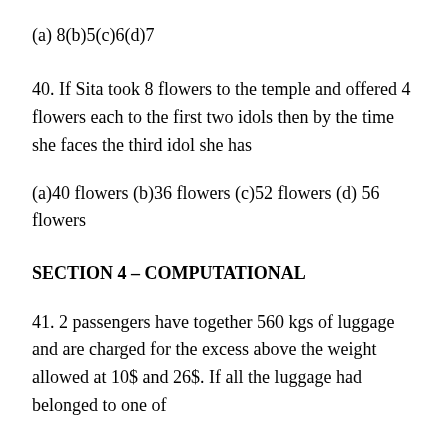(a) 8(b)5(c)6(d)7
40. If Sita took 8 flowers to the temple and offered 4 flowers each to the first two idols then by the time she faces the third idol she has
(a)40 flowers (b)36 flowers (c)52 flowers (d) 56 flowers
SECTION 4 – COMPUTATIONAL
41. 2 passengers have together 560 kgs of luggage and are charged for the excess above the weight allowed at 10$ and 26$. If all the luggage had belonged to one of